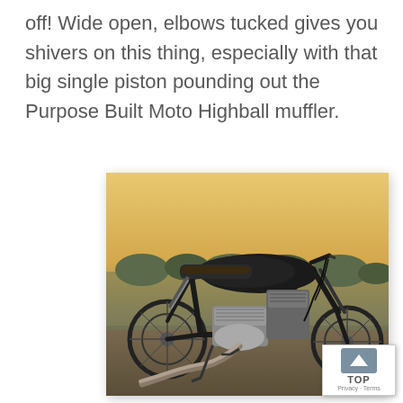off! Wide open, elbows tucked gives you shivers on this thing, especially with that big single piston pounding out the Purpose Built Moto Highball muffler.
[Figure (photo): Side view of a custom cafe racer / scrambler style motorcycle with a black frame and tank, single cylinder engine visible, stainless exhaust pipe running low, parked on a gravel surface with a rural background at dusk.]